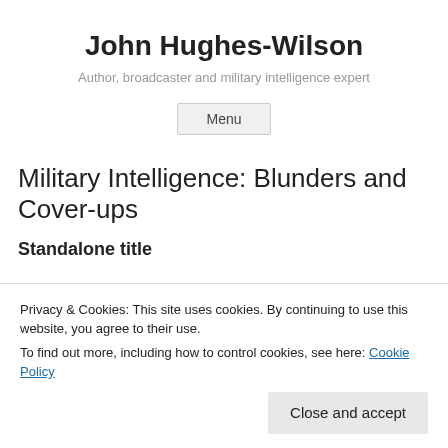John Hughes-Wilson
Author, broadcaster and military intelligence expert
Menu
Military Intelligence: Blunders and Cover-ups
Standalone title
[Figure (photo): Book cover for Military Intelligence: Blunders and Cover-ups by Colonel John Hughes-Wilson, dark blue cover]
Privacy & Cookies: This site uses cookies. By continuing to use this website, you agree to their use.
To find out more, including how to control cookies, see here: Cookie Policy
Close and accept